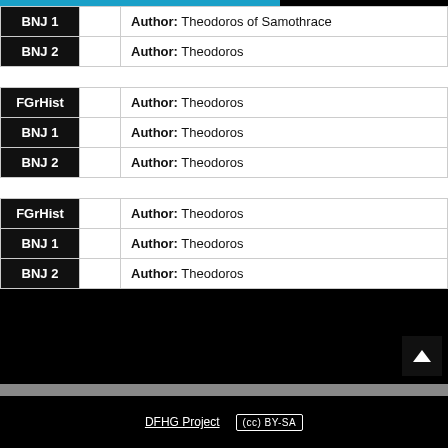| Source |  | Field |
| --- | --- | --- |
| BNJ 1 |  | Author: Theodoros of Samothrace |
| BNJ 2 |  | Author: Theodoros |
| FGrHist |  | Author: Theodoros |
| BNJ 1 |  | Author: Theodoros |
| BNJ 2 |  | Author: Theodoros |
| FGrHist |  | Author: Theodoros |
| BNJ 1 |  | Author: Theodoros |
| BNJ 2 |  | Author: Theodoros |
DFHG Project   (cc) BY-SA